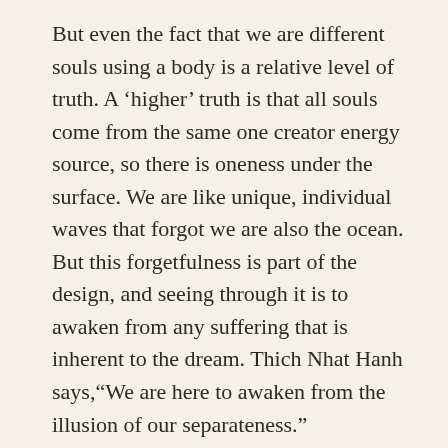But even the fact that we are different souls using a body is a relative level of truth. A ‘higher’ truth is that all souls come from the same one creator energy source, so there is oneness under the surface. We are like unique, individual waves that forgot we are also the ocean. But this forgetfulness is part of the design, and seeing through it is to awaken from any suffering that is inherent to the dream. Thich Nhat Hanh says,“We are here to awaken from the illusion of our separateness.”
This highest dimension of ourselves can be glimpsed at any moment. In fact, it’s only available here and now. When you are fully present with a flower, a latte, a person, the wind, a cat or the smell of dead leaves, in that moment you are not in the world of the mind which subtly pulls you into the future or past. Instead,